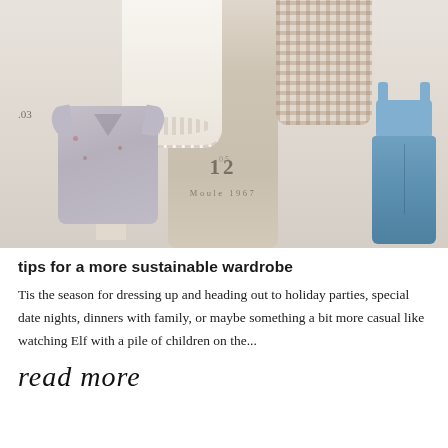[Figure (photo): Flatlay/styled photo of clothing items on dress forms and mannequins against a warm neutral background. Items include a white eyelet blouse, a gingham top, a gray floral cardigan (labeled .03), denim overalls (labeled .05), displayed around a vintage wooden form stamped with the number 12 and text 'Moule 1967'.]
tips for a more sustainable wardrobe
Tis the season for dressing up and heading out to holiday parties, special date nights, dinners with family, or maybe something a bit more casual like watching Elf with a pile of children on the...
read more